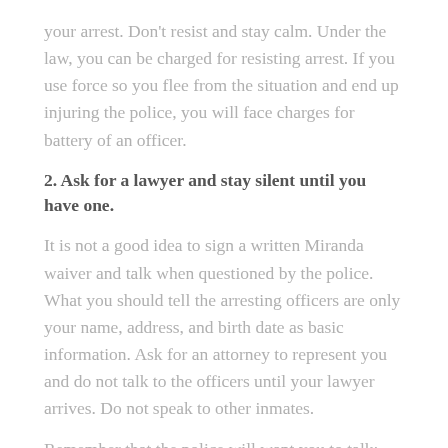your arrest. Don't resist and stay calm. Under the law, you can be charged for resisting arrest. If you use force so you flee from the situation and end up injuring the police, you will face charges for battery of an officer.
2. Ask for a lawyer and stay silent until you have one.
It is not a good idea to sign a written Miranda waiver and talk when questioned by the police. What you should tell the arresting officers are only your name, address, and birth date as basic information. Ask for an attorney to represent you and do not talk to the officers until your lawyer arrives. Do not speak to other inmates.
Remember that the police will want you to talk: